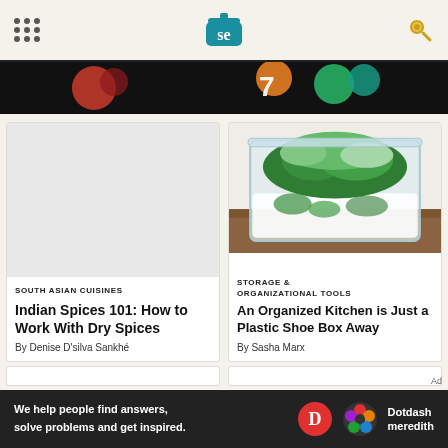Serious Eats logo header with navigation dots and search icon
[Figure (photo): Banner image showing colorful food/cooking graphics on dark background]
[Figure (photo): Article card: blank/placeholder image for Indian Spices 101 article]
SOUTH ASIAN CUISINES
Indian Spices 101: How to Work With Dry Spices
By Denise D'silva Sankhé
[Figure (photo): Article card image: green leafy vegetables stored in a clear plastic container on a wooden surface]
STORAGE & ORGANIZATIONAL TOOLS
An Organized Kitchen is Just a Plastic Shoe Box Away
By Sasha Marx
We help people find answers, solve problems and get inspired. Dotdash meredith